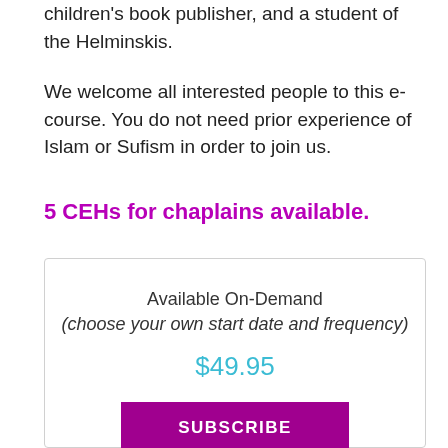children's book publisher, and a student of the Helminskis.
We welcome all interested people to this e-course. You do not need prior experience of Islam or Sufism in order to join us.
5 CEHs for chaplains available.
Available On-Demand
(choose your own start date and frequency)
$49.95
SUBSCRIBE
GIVE AS GIFT